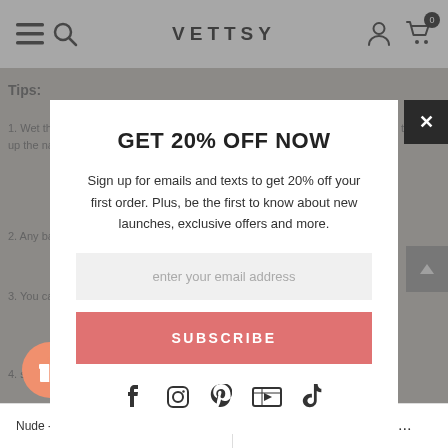VETTSY
GET 20% OFF NOW
Sign up for emails and texts to get 20% off your first order. Plus, be the first to know about new launches, exclusive offers and more.
enter your email address
SUBSCRIBE
[Figure (infographic): Social media icons: Facebook, Instagram, Pinterest, YouTube, TikTok]